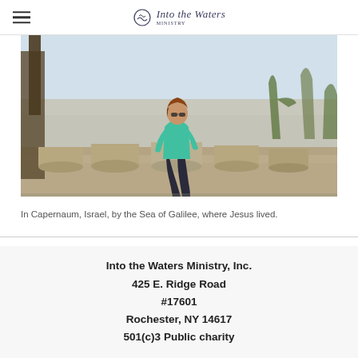Into the Waters Ministry
[Figure (photo): A person wearing a teal shirt and sunglasses sits on large cylindrical stone columns near the Sea of Galilee in Capernaum, Israel, with trees and cacti visible in the background against a light sky.]
In Capernaum, Israel, by the Sea of Galilee, where Jesus lived.
Into the Waters Ministry, Inc.
425 E. Ridge Road
#17601
Rochester, NY 14617
501(c)3 Public charity